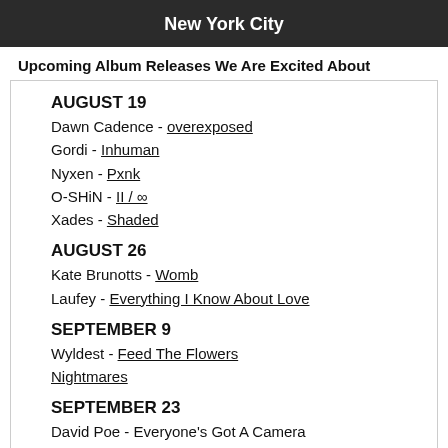New York City
Upcoming Album Releases We Are Excited About
AUGUST 19
Dawn Cadence - overexposed
Gordi - Inhuman
Nyxen - Pxnk
O-SHiN - II / ∞
Xades - Shaded
AUGUST 26
Kate Brunotts - Womb
Laufey - Everything I Know About Love
SEPTEMBER 9
Wyldest - Feed The Flowers Nightmares
SEPTEMBER 23
David Poe - Everyone's Got A Camera
Izzy Oram Brown - Mess
SEPTEMBER 30